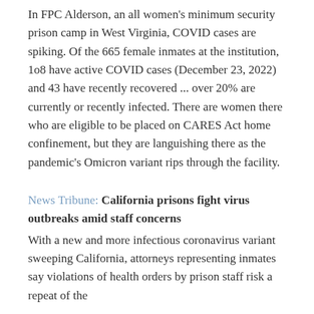In FPC Alderson, an all women's minimum security prison camp in West Virginia, COVID cases are spiking. Of the 665 female inmates at the institution, 1o8 have active COVID cases (December 23, 2022) and 43 have recently recovered ... over 20% are currently or recently infected. There are women there who are eligible to be placed on CARES Act home confinement, but they are languishing there as the pandemic's Omicron variant rips through the facility.
News Tribune: California prisons fight virus outbreaks amid staff concerns
With a new and more infectious coronavirus variant sweeping California, attorneys representing inmates say violations of health orders by prison staff risk a repeat of the